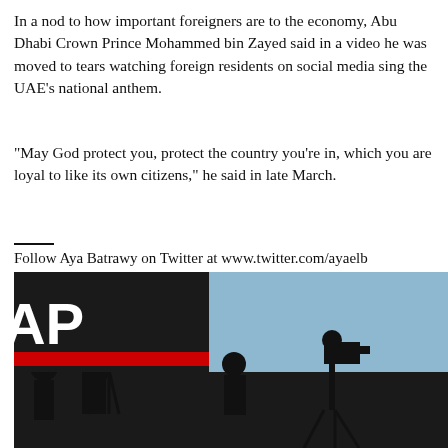In a nod to how important foreigners are to the economy, Abu Dhabi Crown Prince Mohammed bin Zayed said in a video he was moved to tears watching foreign residents on social media sing the UAE’s national anthem.
“May God protect you, protect the country you’re in, which you are loyal to like its own citizens,” he said in late March.
Follow Aya Batrawy on Twitter at www.twitter.com/ayaelb
[Figure (photo): AP logo with silhouettes of camera operators and media equipment against a blue sky background. A red bar appears below the AP text. An X close button is visible in the upper right corner of the advertisement.]